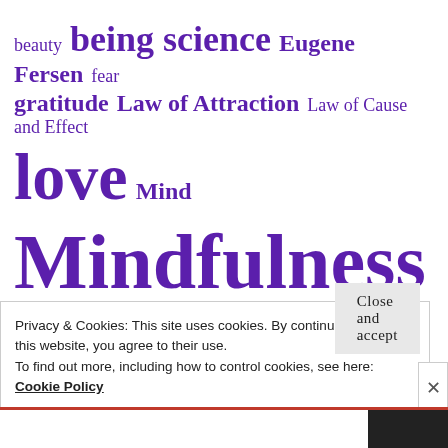[Figure (infographic): Tag cloud in purple text with varying font sizes. Tags include: beauty, being science, Eugene Fersen, fear, gratitude, Law of Attraction, Law of Cause and Effect, love, Mind, Mindfulness, photography, poetry, science, being, science of being, science of being (larger), eugene fersen, self-help, self, spiritual journey (partially visible)]
Privacy & Cookies: This site uses cookies. By continuing to use this website, you agree to their use.
To find out more, including how to control cookies, see here:
Cookie Policy
Close and accept